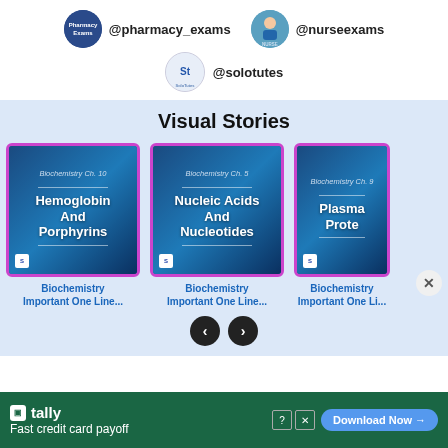[Figure (screenshot): Social media handles: @pharmacy_exams with pharmacy icon, @nurseexams with nurse icon]
@pharmacy_exams
@nurseexams
[Figure (screenshot): Social media handle: @solotutes with solo tutes icon]
@solotutes
Visual Stories
[Figure (illustration): Visual story card: Biochemistry Ch. 10 - Hemoglobin And Porphyrins]
Biochemistry Important One Line...
[Figure (illustration): Visual story card: Biochemistry Ch. 5 - Nucleic Acids And Nucleotides]
Biochemistry Important One Line...
[Figure (illustration): Visual story card (partial): Biochemistry Ch. 9 - Plasma Prote...]
Biochemistry Important One Li...
[Figure (infographic): Advertisement: Tally - Fast credit card payoff. Download Now button.]